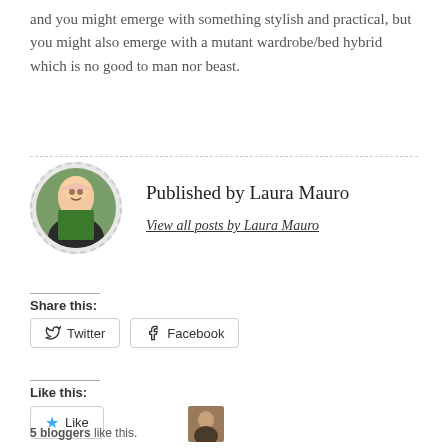and you might emerge with something stylish and practical, but you might also emerge with a mutant wardrobe/bed hybrid which is no good to man nor beast.
Published by Laura Mauro
View all posts by Laura Mauro
Share this:
Twitter
Facebook
Like this:
Like
5 bloggers like this.